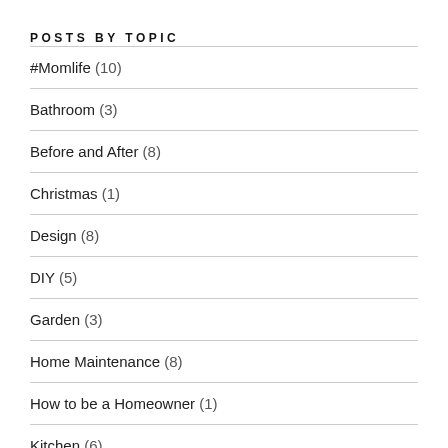POSTS BY TOPIC
#Momlife (10)
Bathroom (3)
Before and After (8)
Christmas (1)
Design (8)
DIY (5)
Garden (3)
Home Maintenance (8)
How to be a Homeowner (1)
Kitchen (6)